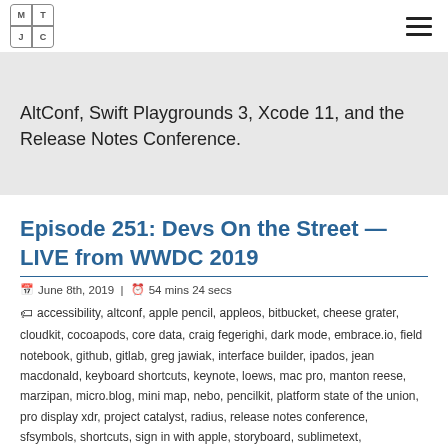MTC logo and hamburger menu
AltConf, Swift Playgrounds 3, Xcode 11, and the Release Notes Conference.
Episode 251: Devs On the Street — LIVE from WWDC 2019
June 8th, 2019 | 54 mins 24 secs
accessibility, altconf, apple pencil, appleos, bitbucket, cheese grater, cloudkit, cocoapods, core data, craig fegerighi, dark mode, embrace.io, field notebook, github, gitlab, greg jawiak, interface builder, ipados, jean macdonald, keyboard shortcuts, keynote, loews, mac pro, manton reese, marzipan, micro.blog, mini map, nebo, pencilkit, platform state of the union, pro display xdr, project catalyst, radius, release notes conference, sfsymbols, shortcuts, sign in with apple, storyboard, sublimetext, subscription pricing, surface, swift